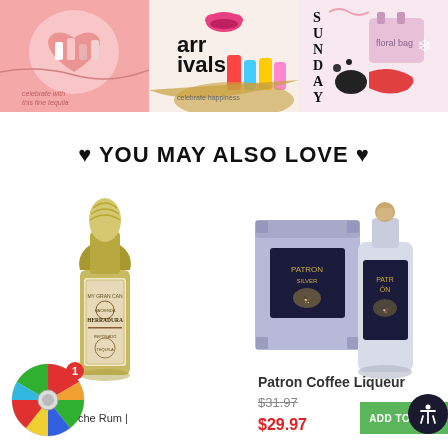[Figure (screenshot): Three promotional banner images in a horizontal strip: left panel with pink background showing socks/products, center panel with 'arrivals' text and colorful products, right panel with pastel background showing 'SUNDAY' text and accessories.]
♥ YOU MAY ALSO LOVE ♥
[Figure (photo): A decorative tequila bottle (Herradura) with ornate label, gold-tinted glass, and a pineapple-shaped stopper top.]
[Figure (photo): Patron Coffee Liqueur product showing a purple gift box and a frosted glass bottle with cork stopper and Patron branding.]
che Rum |
Patron Coffee Liqueur
$31.97
$29.97
ADD TO CA...